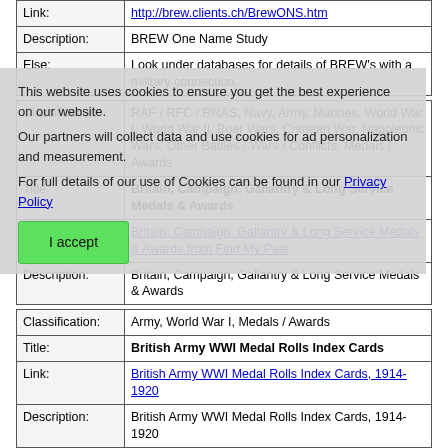| Field | Value |
| --- | --- |
| Link: | http://brew.clients.ch/BrewONS.htm |
| Description: | BREW One Name Study |
| Else: | Look under databases for details of BREW's with a military connection. |
| Field | Value |
| --- | --- |
| Classification: | RAF / RFC / RNAS, Navy, Army, Marines, World War I, World War II, Boer Wars, Crimean War, Napoleonic Wars, Other Battles / Wars / Conflicts, Medals / Awards |
| Title: | Britain, Campaign, Gallantry & Long Service Medals & Awards |
| Link: | Britain, Campaign, Gallantry & Long Service Medals & Awards from Find My Past |
| Description: | Britain, Campaign, Gallantry & Long Service Medals & Awards |
| Field | Value |
| --- | --- |
| Classification: | Army, World War I, Medals / Awards |
| Title: | British Army WWI Medal Rolls Index Cards |
| Link: | British Army WWI Medal Rolls Index Cards, 1914-1920 |
| Description: | British Army WWI Medal Rolls Index Cards, 1914-1920 |
| Field | Value |
| --- | --- |
| Classification: | Army, World War I, Discharge / Pension |
This website uses cookies to ensure you get the best experience on our website. Our partners will collect data and use cookies for ad personalization and measurement. For full details of our use of Cookies can be found in our Privacy Policy
I accept